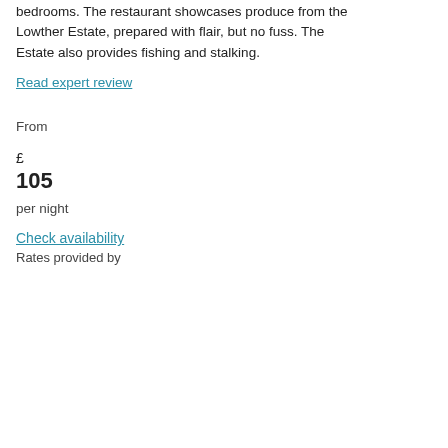bedrooms. The restaurant showcases produce from the Lowther Estate, prepared with flair, but no fuss. The Estate also provides fishing and stalking.
Read expert review
From
£
105
per night
Check availability
Rates provided by